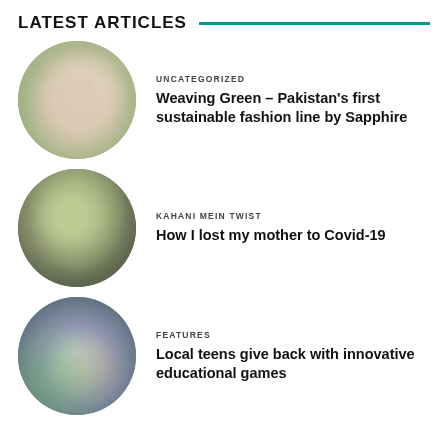LATEST ARTICLES
UNCATEGORIZED
Weaving Green – Pakistan's first sustainable fashion line by Sapphire
[Figure (photo): Woman in white floral outfit sitting outdoors]
KAHANI MEIN TWIST
How I lost my mother to Covid-19
[Figure (photo): Flowers on a grave or memorial with hay/straw background]
FEATURES
Local teens give back with innovative educational games
[Figure (photo): Group of children wearing face masks in school uniforms]